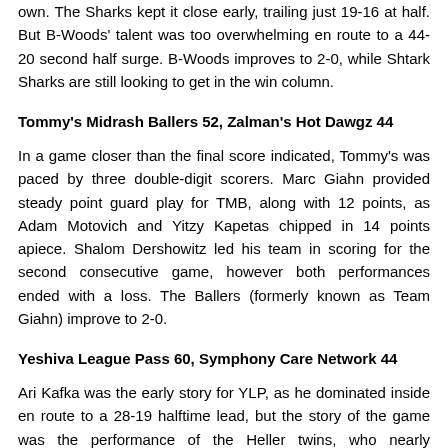own. The Sharks kept it close early, trailing just 19-16 at half. But B-Woods' talent was too overwhelming en route to a 44-20 second half surge. B-Woods improves to 2-0, while Shtark Sharks are still looking to get in the win column.
Tommy's Midrash Ballers 52, Zalman's Hot Dawgz 44
In a game closer than the final score indicated, Tommy's was paced by three double-digit scorers. Marc Giahn provided steady point guard play for TMB, along with 12 points, as Adam Motovich and Yitzy Kapetas chipped in 14 points apiece. Shalom Dershowitz led his team in scoring for the second consecutive game, however both performances ended with a loss. The Ballers (formerly known as Team Giahn) improve to 2-0.
Yeshiva League Pass 60, Symphony Care Network 44
Ari Kafka was the early story for YLP, as he dominated inside en route to a 28-19 halftime lead, but the story of the game was the performance of the Heller twins, who nearly outscored Symphony